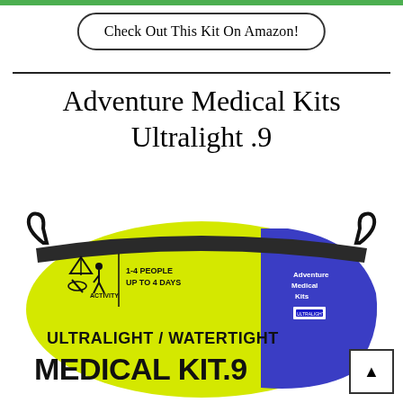Check Out This Kit On Amazon!
Adventure Medical Kits Ultralight .9
[Figure (photo): Yellow and blue Adventure Medical Kits Ultralight / Watertight Medical Kit .9 bag with two pull loops, showing '1-4 PEOPLE UP TO 4 DAYS' text and activity icons on the front, with blue Adventure Medical Kits branding on the side.]